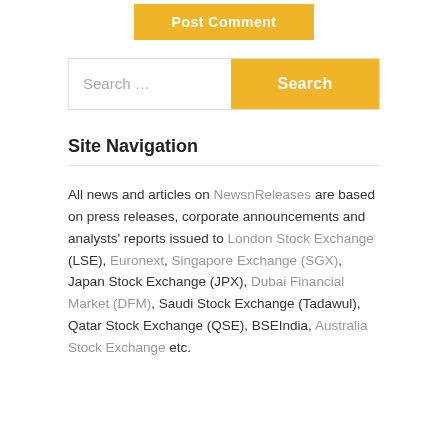[Figure (other): Yellow 'Post Comment' button at the top of the page]
[Figure (other): Search bar with text 'Search ...' and a yellow 'Search' button]
Site Navigation
All news and articles on NewsnReleases are based on press releases, corporate announcements and analysts' reports issued to London Stock Exchange (LSE), Euronext, Singapore Exchange (SGX), Japan Stock Exchange (JPX), Dubai Financial Market (DFM), Saudi Stock Exchange (Tadawul), Qatar Stock Exchange (QSE), BSEIndia, Australia Stock Exchange etc.